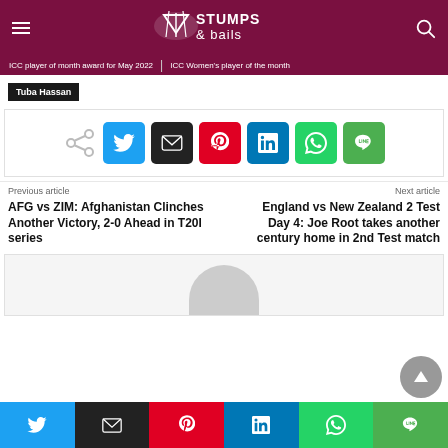Stumps & Bails
ICC player of month award for May 2022 | ICC Women's player of the month
Tuba Hassan
[Figure (infographic): Social share buttons: Twitter, Email, Pinterest, LinkedIn, WhatsApp, Line]
Previous article
Next article
AFG vs ZIM: Afghanistan Clinches Another Victory, 2-0 Ahead in T20I series
England vs New Zealand 2 Test Day 4: Joe Root takes another century home in 2nd Test match
[Figure (photo): Related article thumbnail placeholder]
[Figure (infographic): Bottom social share buttons: Twitter, Email, Pinterest, LinkedIn, WhatsApp, Line]